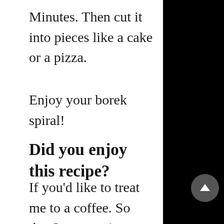Minutes. Then cut it into pieces like a cake or a pizza.
Enjoy your borek spiral!
Did you enjoy this recipe?
If you'd like to treat me to a coffee. So that I can continue to develope recipes, cook them and take pictures to publish on dailyvegan.de, please send me a small Paypal donation. I only ask you to do so, if you have enough money for yourself. If you have little money, I would like you